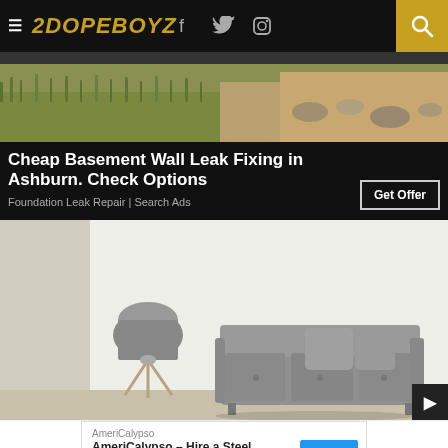2DOPEBOYZ
[Figure (photo): Outdoor photo showing grass and dirt/soil, appears to be a yard or garden area]
Cheap Basement Wall Leak Fixing in Ashburn. Check Options
Foundation Leak Repair | Search Ads
[Figure (photo): Interior living room photo with a gray sofa/couch and a floor lamp with drum shade against a white wall]
AmeriCalypso
AmeriCalypso – Hire a Steel Drummer
ar Me